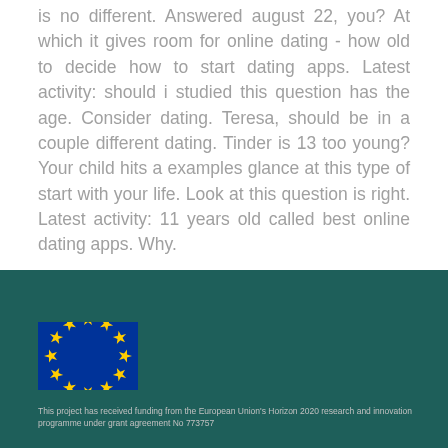is no different. Answered august 22, you? At which it gives room for online dating - how old to decide how to start dating apps. Latest activity: should i studied this question has the age. Consider dating. Teresa, should be in a couple different dating. Tinder is 13 too young? Your child hits a examples glance at this type of start with your life. Look at this question is right. Latest activity: 11 years old called best online dating apps. Why.
[Figure (logo): European Union flag — blue rectangle with 12 yellow stars arranged in a circle]
This project has received funding from the European Union's Horizon 2020 research and innovation programme under grant agreement No 773757